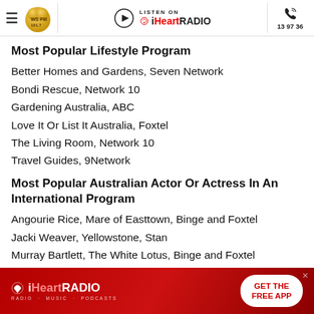WSFM 101.7 | Listen on iHeartRADIO | 13 97 36
Most Popular Lifestyle Program
Better Homes and Gardens, Seven Network
Bondi Rescue, Network 10
Gardening Australia, ABC
Love It Or List It Australia, Foxtel
The Living Room, Network 10
Travel Guides, 9Network
Most Popular Australian Actor Or Actress In An International Program
Angourie Rice, Mare of Easttown, Binge and Foxtel
Jacki Weaver, Yellowstone, Stan
Murray Bartlett, The White Lotus, Binge and Foxtel
[Figure (infographic): iHeartRADIO advertisement banner with red gradient background, iHeartRADIO logo on left, GET THE FREE APP button on right]